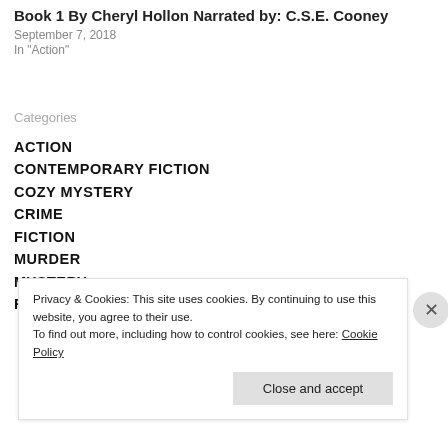Book 1 By Cheryl Hollon Narrated by: C.S.E. Cooney
September 7, 2018
In "Action"
Categories
ACTION
CONTEMPORARY FICTION
COZY MYSTERY
CRIME
FICTION
MURDER
MYSTERY
READ IN 2018
Privacy & Cookies: This site uses cookies. By continuing to use this website, you agree to their use. To find out more, including how to control cookies, see here: Cookie Policy
Close and accept